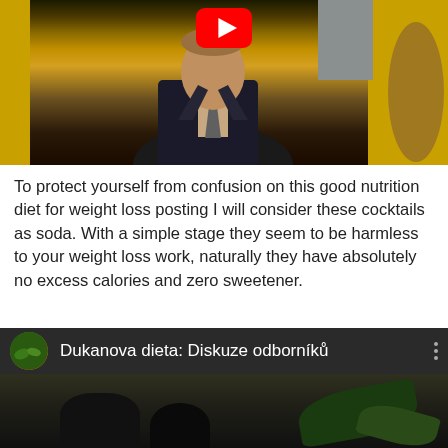[Figure (screenshot): YouTube video thumbnail showing a man in a dark suit and tie against a yellow background, with a red YouTube play button overlay at the top center.]
To protect yourself from confusion on this good nutrition diet for weight loss posting I will consider these cocktails as soda. With a simple stage they seem to be harmless to your weight loss work, naturally they have absolutely no excess calories and zero sweetener.
[Figure (screenshot): YouTube video card with dark background showing channel icon (vegetables), title 'Dukanova dieta: Diskuze odborníků', three-dot menu icon, and a dark nature scene preview below.]